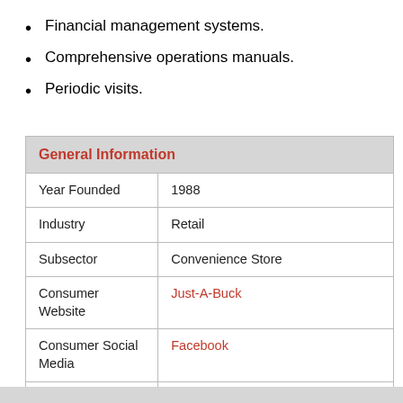Financial management systems.
Comprehensive operations manuals.
Periodic visits.
| General Information |  |
| --- | --- |
| Year Founded | 1988 |
| Industry | Retail |
| Subsector | Convenience Store |
| Consumer Website | Just-A-Buck |
| Consumer Social Media | Facebook |
| Locations | Alabama, Arizona, California, New Jersey, New York, Ohio |